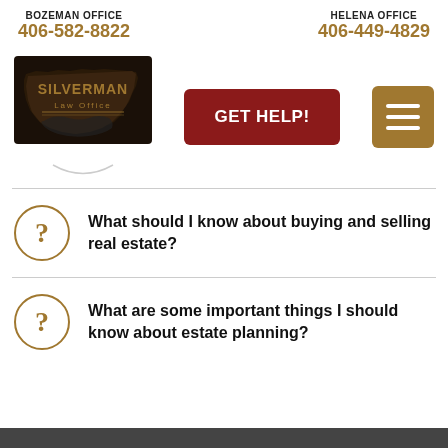BOZEMAN OFFICE 406-582-8822 | HELENA OFFICE 406-449-4829
[Figure (logo): Silverman Law Office logo with Montana state shape silhouette on black background]
[Figure (other): GET HELP! button in dark red]
[Figure (other): Hamburger menu button in gold/tan color]
What should I know about buying and selling real estate?
What are some important things I should know about estate planning?